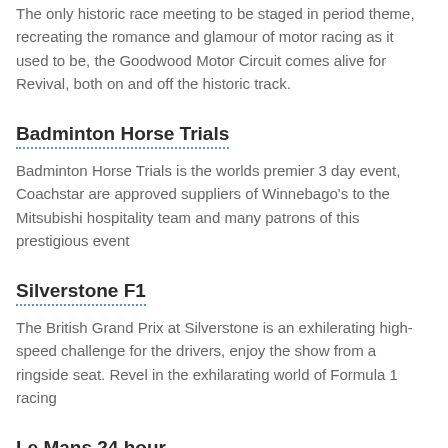Goodwood
The only historic race meeting to be staged in period theme, recreating the romance and glamour of motor racing as it used to be, the Goodwood Motor Circuit comes alive for Revival, both on and off the historic track.
Badminton Horse Trials
Badminton Horse Trials is the worlds premier 3 day event, Coachstar are approved suppliers of Winnebago's to the Mitsubishi hospitality team and many patrons of this prestigious event
Silverstone F1
The British Grand Prix at Silverstone is an exhilerating high-speed challenge for the drivers, enjoy the show from a ringside seat. Revel in the exhilarating world of Formula 1 racing
Le Mans 24 hour